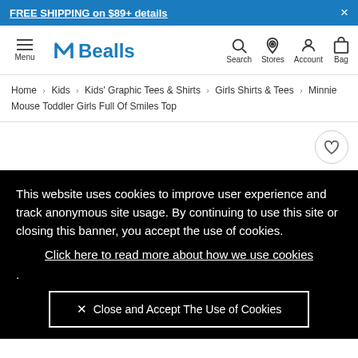FREE SHIPPING on $89+ details
[Figure (logo): Bealls logo with navigation icons: Menu (hamburger), Bealls logo, Search, Stores, Account, Bag]
Home > Kids > Kids' Graphic Tees & Shirts > Girls Shirts & Tees > Minnie Mouse Toddler Girls Full Of Smiles Top
This website uses cookies to improve user experience and track anonymous site usage. By continuing to use this site or closing this banner, you accept the use of cookies.
Click here to read more about how we use cookies
.
Close and Accept The Use of Cookies